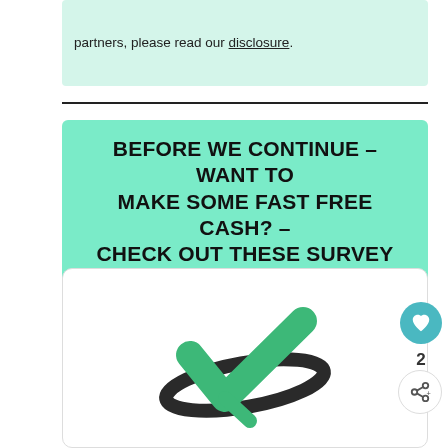partners, please read our disclosure.
BEFORE WE CONTINUE – WANT TO MAKE SOME FAST FREE CASH? – CHECK OUT THESE SURVEY SITES
[Figure (logo): Survey Junkie logo — a green checkmark with a dark elliptical swoosh around it, on a white background inside a rounded card]